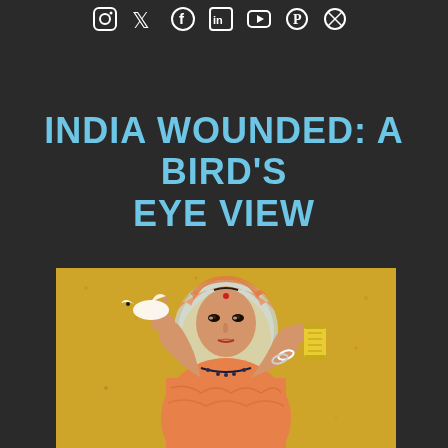[Social media icons: Instagram, Twitter, Facebook, LinkedIn, YouTube, Pinterest, other]
INDIA WOUNDED: A BIRD'S EYE VIEW
[Figure (illustration): An Indian traditional painting on a golden-yellow background depicting a woman dressed in a pink/orange sari with a blue halo behind her head. She has a red bindi on her forehead, wears a necklace, and holds a white bird in her raised left hand and a yellow scroll in her lowered right hand. The figure has a devotional or allegorical quality reminiscent of Mughal or Rajput painting style.]